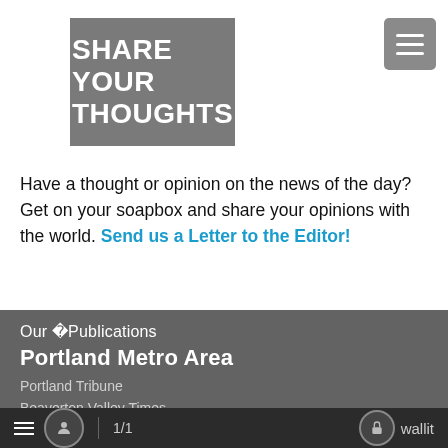[Figure (logo): Gray square logo with white bold uppercase text reading SHARE YOUR THOUGHTS]
[Figure (other): Hamburger menu icon, gray rounded square with three white horizontal lines]
Have a thought or opinion on the news of the day? Get on your soapbox and share your opinions with the world. Send us a Letter to the Editor!
Our Publications
Portland Metro Area
Portland Tribune
Beaverton Valley Times
Tigard Tualatin Times
1/1  wallit